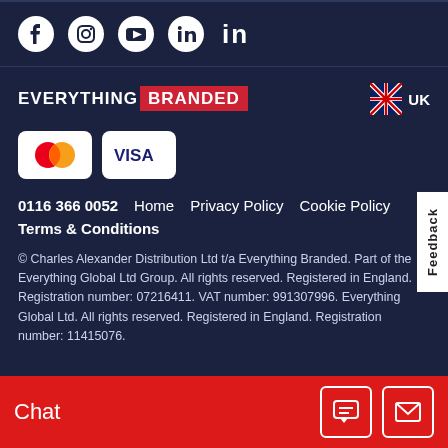[Figure (infographic): Social media icons: Facebook, Instagram, YouTube, LinkedIn in white on dark navy background]
[Figure (logo): Everything Branded logo: EVERYTHING in white bold caps, BRANDED in white bold caps on red rectangle background]
[Figure (infographic): UK flag badge with text 'UK']
[Figure (infographic): Payment method icons: Mastercard and Visa on white cards]
0116 366 0052   Home   Privacy Policy   Cookie Policy
Terms & Conditions
© Charles Alexander Distribution Ltd t/a Everything Branded. Part of the Everything Global Ltd Group. All rights reserved. Registered in England. Registration number: 07216411. VAT number: 991307996. Everything Global Ltd. All rights reserved. Registered in England. Registration number: 11415076.
Feedback
Chat